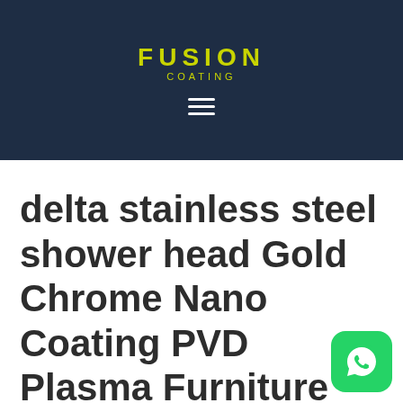FUSION COATING
delta stainless steel shower head Gold Chrome Nano Coating PVD Plasma Furniture Cutlery Hardware Surgical Coating
[Figure (logo): WhatsApp icon button — green rounded square with white phone handset inside speech bubble icon]